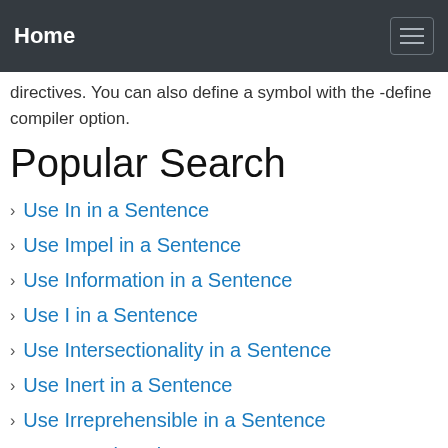Home
directives. You can also define a symbol with the -define compiler option.
Popular Search
Use In in a Sentence
Use Impel in a Sentence
Use Information in a Sentence
Use I in a Sentence
Use Intersectionality in a Sentence
Use Inert in a Sentence
Use Irreprehensible in a Sentence
Use Incogitant in a Sentence
Use Integrous in a Sentence